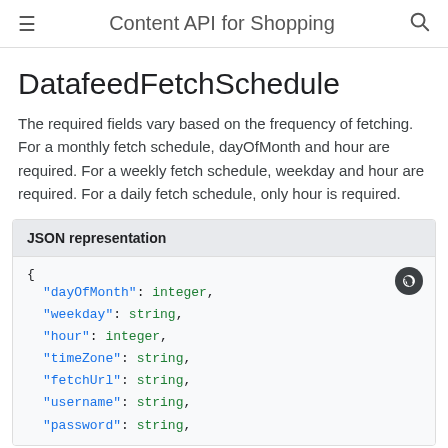Content API for Shopping
DatafeedFetchSchedule
The required fields vary based on the frequency of fetching. For a monthly fetch schedule, dayOfMonth and hour are required. For a weekly fetch schedule, weekday and hour are required. For a daily fetch schedule, only hour is required.
JSON representation
{
  "dayOfMonth": integer,
  "weekday": string,
  "hour": integer,
  "timeZone": string,
  "fetchUrl": string,
  "username": string,
  "password": string,